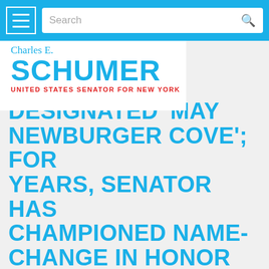Search
[Figure (logo): Charles E. Schumer, United States Senator for New York logo]
DESIGNATED 'MAY NEWBURGER COVE'; FOR YEARS, SENATOR HAS CHAMPIONED NAME-CHANGE IN HONOR OF HOMETOWN TRAILBLAZER—MAY NEWBURGER—FIRST FEMALE TOWN SUPERVISOR IN NASSAU COUNTY; CHANGE IS EVEN OFFICIAL